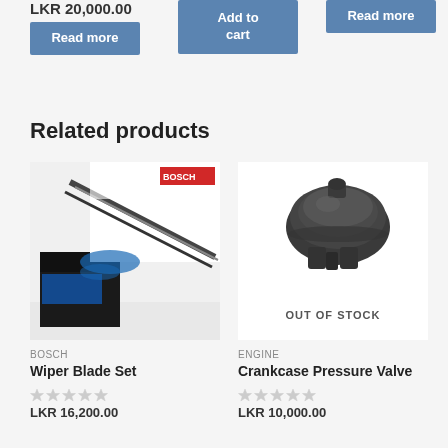LKR 20,000.00
Read more
Add to cart
Read more
Related products
[Figure (photo): Bosch wiper blade set product packaging with blue and black design]
BOSCH
Wiper Blade Set
LKR 16,200.00
[Figure (photo): Crankcase Pressure Valve, dark plastic automotive part, shown with OUT OF STOCK overlay]
Engine
Crankcase Pressure Valve
LKR 10,000.00